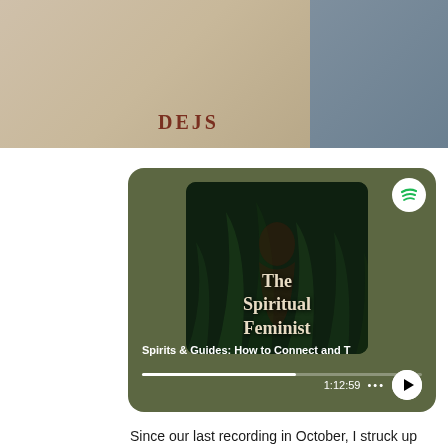[Figure (photo): Top portion of a photo showing a person wearing a light-colored shirt with 'DEJS' text visible, split with a grey/blue background on the right side]
[Figure (screenshot): Spotify podcast player card with dark olive/green background showing 'The Spiritual Feminist' podcast album art with a woman among dark foliage. Track title: 'Spirits & Guides: How to Connect and T'. Time: 1:12:59. Play button visible.]
Since our last recording in October, I struck up a friendship with the beautiful Sophie from The Place, an online and offline space for spiritual moments and connections.